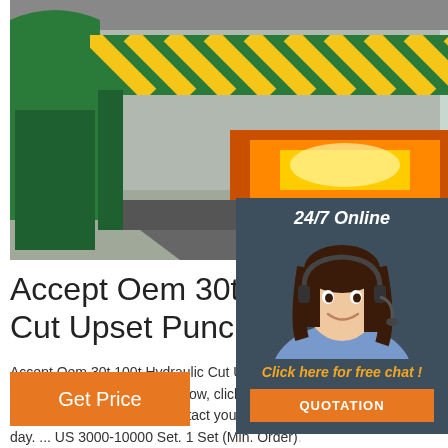[Figure (photo): Industrial hydraulic press machine in a factory — large green metal frame with arch structure, glowing furnace/forge visible in the center, factory floor and windows in background.]
Accept Oem 30t 100t Hydraulic Cut Upset Punch Draw Press
Accept Oem 30t 100t Hydraulic Cut Upset Punch Draw Press. Just fill in the form below, click submit, the price list, and we will contact you within one day. ... US 3000-10000 Set. 1 Set (Min. Order) Qingdao Hiparter Dies & Moulds Co., Ltd. 37.5 Supplier. Compare. We are professional at tooling manufacruring ...
[Figure (photo): 24/7 Online customer service chat panel — dark slate background with photo of smiling woman wearing headset microphone, orange text 'Click here for free chat!', orange QUOTATION button.]
Get Price
[Figure (infographic): Orange TOP button with dot-circle arc logo above the text TOP in orange bold lettering.]